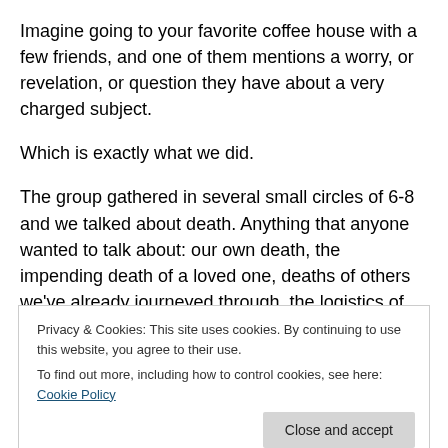Imagine going to your favorite coffee house with a few friends, and one of them mentions a worry, or revelation, or question they have about a very charged subject.
Which is exactly what we did.
The group gathered in several small circles of 6-8 and we talked about death. Anything that anyone wanted to talk about: our own death, the impending death of a loved one, deaths of others we've already journeyed through, the logistics of dealing with everything after a family member's death, what is an ideal death… we could have talked all
Privacy & Cookies: This site uses cookies. By continuing to use this website, you agree to their use.
To find out more, including how to control cookies, see here: Cookie Policy
Close and accept
One of our favorite aspects of one of the participations